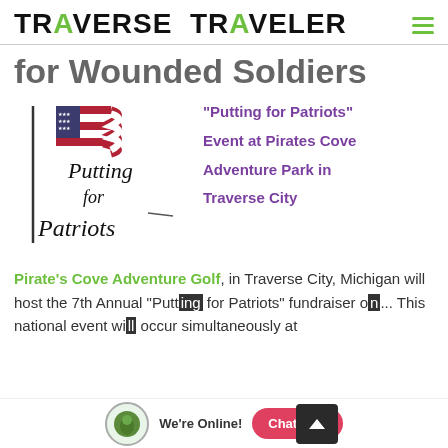TRAVERSE TRAVELER
for Wounded Soldiers
[Figure (logo): Putting for Patriots logo with American flag and script text]
"Putting for Patriots" Event at Pirates Cove Adventure Park in Traverse City
Pirate's Cove Adventure Golf, in Traverse City, Michigan will host the 7th Annual "Putting for Patriots" fundraiser o... This national event wi... occur simultaneously at